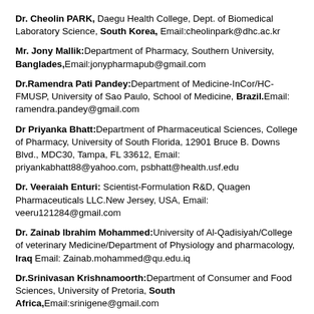Dr. Cheolin PARK, Daegu Health College, Dept. of Biomedical Laboratory Science, South Korea, Email:cheolinpark@dhc.ac.kr
Mr. Jony Mallik: Department of Pharmacy, Southern University, Banglades, Email:jonypharmapub@gmail.com
Dr.Ramendra Pati Pandey: Department of Medicine-InCor/HC-FMUSP, University of Sao Paulo, School of Medicine, Brazil. Email: ramendra.pandey@gmail.com
Dr Priyanka Bhatt: Department of Pharmaceutical Sciences, College of Pharmacy, University of South Florida, 12901 Bruce B. Downs Blvd., MDC30, Tampa, FL 33612, Email: priyankabhatt88@yahoo.com, psbhatt@health.usf.edu
Dr. Veeraiah Enturi: Scientist-Formulation R&D, Quagen Pharmaceuticals LLC.New Jersey, USA, Email: veeru121284@gmail.com
Dr. Zainab Ibrahim Mohammed: University of Al-Qadisiyah/College of veterinary Medicine/Department of Physiology and pharmacology, Iraq Email: Zainab.mohammed@qu.edu.iq
Dr.Srinivasan Krishnamoorth: Department of Consumer and Food Sciences, University of Pretoria, South Africa, Email:srinigene@gmail.com